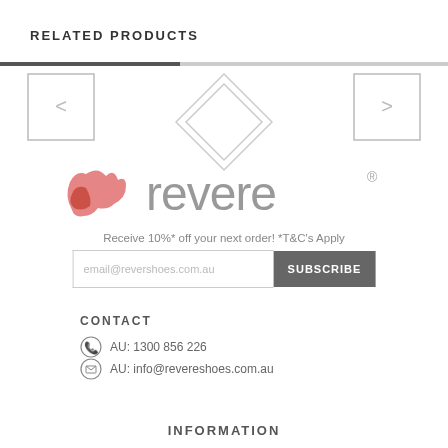RELATED PRODUCTS
[Figure (screenshot): Product carousel slider with left arrow button, a diamond/rhombus placeholder shape in center, and right arrow button. A progress bar at top shows partial fill.]
[Figure (logo): Revere shoes logo: pink/salmon stylized bird icon next to grey 'revere' wordmark with registered trademark symbol]
Receive 10%* off your next order! *T&C's Apply
email@revershoes.com.au  SUBSCRIBE
CONTACT
AU: 1300 856 226
AU: info@revereshoes.com.au
INFORMATION